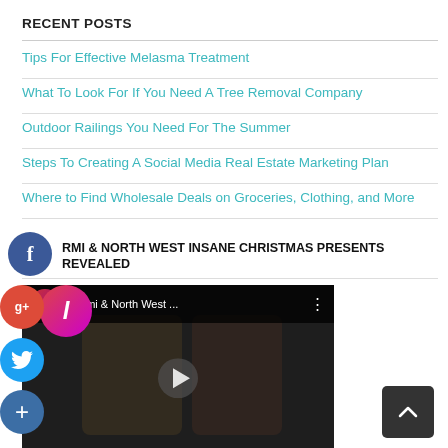RECENT POSTS
Tips For Effective Melasma Treatment
What To Look For If You Need A Tree Removal Company
Outdoor Railings You Need For The Summer
Steps To Creating A Social Media Real Estate Marketing Plan
Where to Find Wholesale Deals on Groceries, Clothing, and More
RMI & NORTH WEST INSANE CHRISTMAS PRESENTS REVEALED
[Figure (screenshot): Video thumbnail showing 'Stormi & North West ...' with play button overlay, social media share buttons (Facebook, Google+, Twitter, plus) on the left side]